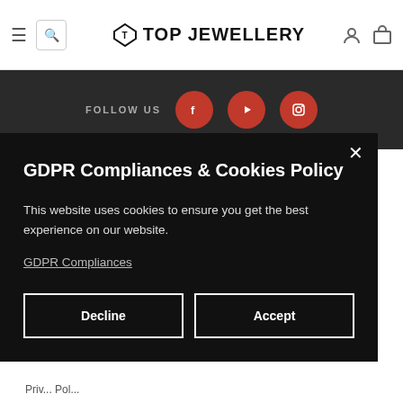TOP JEWELLERY
FOLLOW US
CUSTOMER SERVICE
COMPANY
GDPR Compliances & Cookies Policy
This website uses cookies to ensure you get the best experience on our website.
GDPR Compliances
Decline
Accept